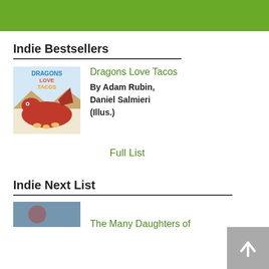Indie Bestsellers
[Figure (photo): Book cover for Dragons Love Tacos showing a cartoon dragon with tacos]
Dragons Love Tacos
By Adam Rubin, Daniel Salmieri (Illus.)
Full List
Indie Next List
[Figure (photo): Partially visible book cover at bottom of page for The Many Daughters of...]